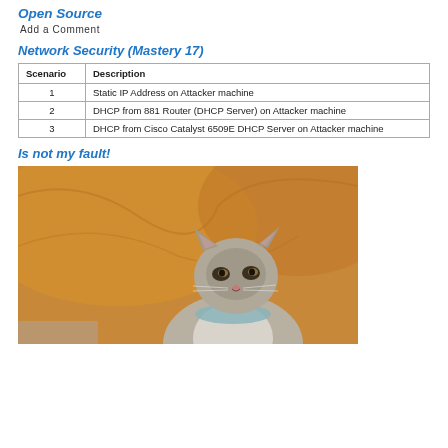Open Source
Add  a  Comment
Network Security (Mastery 17)
| Scenario | Description |
| --- | --- |
| 1 | Static IP Address on Attacker machine |
| 2 | DHCP from 881 Router (DHCP Server) on Attacker machine |
| 3 | DHCP from Cisco Catalyst 6509E DHCP Server on Attacker machine |
Is not my fault!
[Figure (photo): A cat sitting on an orange/tan sofa, looking slightly upward, wearing what appears to be a light blue collar or item around its neck.]